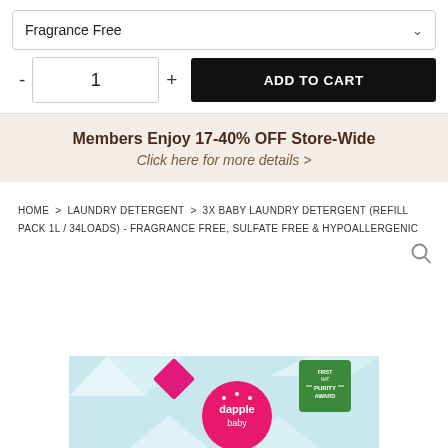Fragrance Free
1
ADD TO CART
Members Enjoy 17-40% OFF Store-Wide
Click here for more details >
HOME > LAUNDRY DETERGENT > 3X BABY LAUNDRY DETERGENT (REFILL PACK 1L / 34LOADS) - FRAGRANCE FREE, SULFATE FREE & HYPOALLERGENIC
[Figure (photo): Dapple baby laundry detergent product package with pink logo and green Purity Award badge, on light blue background with white triangular pattern.]